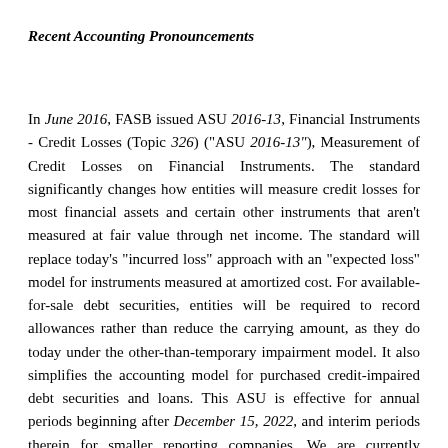Recent Accounting Pronouncements
In June 2016, FASB issued ASU 2016-13, Financial Instruments - Credit Losses (Topic 326) ("ASU 2016-13"), Measurement of Credit Losses on Financial Instruments. The standard significantly changes how entities will measure credit losses for most financial assets and certain other instruments that aren't measured at fair value through net income. The standard will replace today's "incurred loss" approach with an "expected loss" model for instruments measured at amortized cost. For available-for-sale debt securities, entities will be required to record allowances rather than reduce the carrying amount, as they do today under the other-than-temporary impairment model. It also simplifies the accounting model for purchased credit-impaired debt securities and loans. This ASU is effective for annual periods beginning after December 15, 2022, and interim periods therein for smaller reporting companies. We are currently evaluating the impact of the new guidance on our consolidated financial statements.